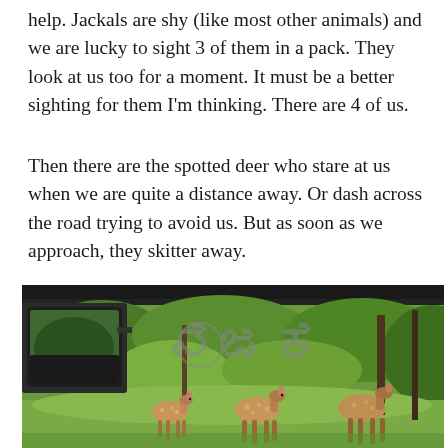help. Jackals are shy (like most other animals) and we are lucky to sight 3 of them in a pack. They look at us too for a moment. It must be a better sighting for them I'm thinking. There are 4 of us.
Then there are the spotted deer who stare at us when we are quite a distance away. Or dash across the road trying to avoid us. But as soon as we approach, they skitter away.
[Figure (photo): A photo taken from inside a vehicle showing spotted deer (chital) in lush green forest undergrowth, with the vehicle's rearview mirror visible on the left side and a Kannada script watermark overlay on the image.]